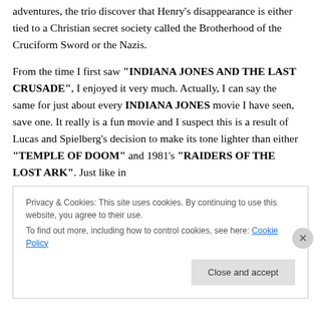adventures, the trio discover that Henry's disappearance is either tied to a Christian secret society called the Brotherhood of the Cruciform Sword or the Nazis.

From the time I first saw "INDIANA JONES AND THE LAST CRUSADE", I enjoyed it very much. Actually, I can say the same for just about every INDIANA JONES movie I have seen, save one. It really is a fun movie and I suspect this is a result of Lucas and Spielberg's decision to make its tone lighter than either "TEMPLE OF DOOM" and 1981's "RAIDERS OF THE LOST ARK". Just like in
Privacy & Cookies: This site uses cookies. By continuing to use this website, you agree to their use.
To find out more, including how to control cookies, see here: Cookie Policy